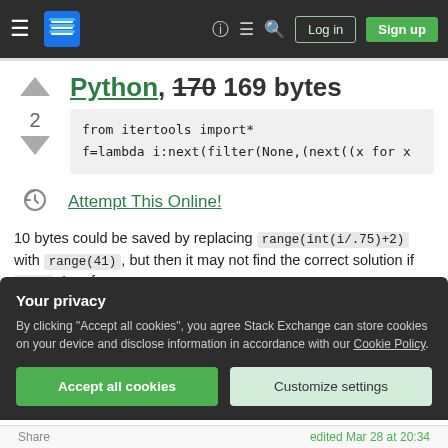Stack Exchange navigation bar with hamburger menu, logo, icons, Log in and Sign up buttons
Python, 170 169 bytes
[Figure (screenshot): Code block showing: from itertools import*
f=lambda i:next(filter(None,(next((x for x]
Attempt This Online!
10 bytes could be saved by replacing range(int(i/.75)+2) with range(41), but then it may not find the correct solution if i>30. I prefer
Your privacy
By clicking "Accept all cookies", you agree Stack Exchange can store cookies on your device and disclose information in accordance with our Cookie Policy.
Accept all cookies   Customize settings
Share    edited Mar 28 at 20:34